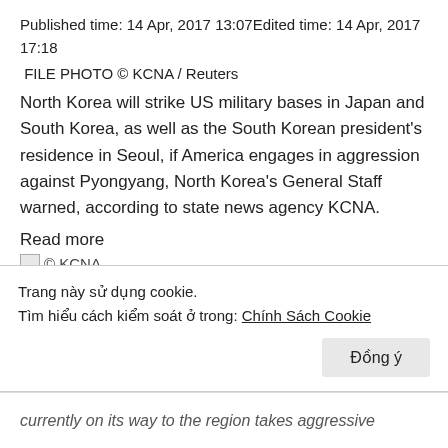Published time: 14 Apr, 2017 13:07Edited time: 14 Apr, 2017 17:18
FILE PHOTO © KCNA / Reuters
North Korea will strike US military bases in Japan and South Korea, as well as the South Korean president's residence in Seoul, if America engages in aggression against Pyongyang, North Korea's General Staff warned, according to state news agency KCNA.
Read more
[Figure (photo): Small broken image icon followed by '© KCNA' text label]
'We will go to war if they choose': N. Korea warns
Trang này sử dụng cookie.
Tìm hiểu cách kiểm soát ở trong: Chính Sách Cookie
Đồng ý
currently on its way to the region takes aggressive